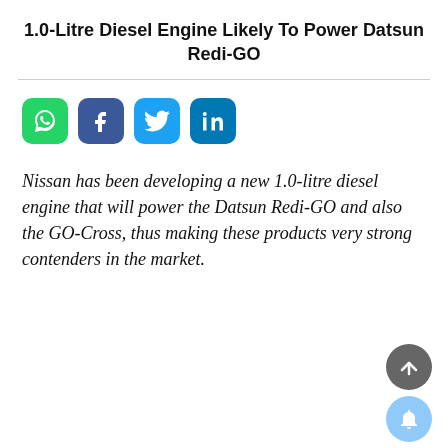1.0-Litre Diesel Engine Likely To Power Datsun Redi-GO
[Figure (infographic): Social media share icons: WhatsApp (green), Facebook (blue), Twitter (light blue), LinkedIn (dark blue)]
Nissan has been developing a new 1.0-litre diesel engine that will power the Datsun Redi-GO and also the GO-Cross, thus making these products very strong contenders in the market.